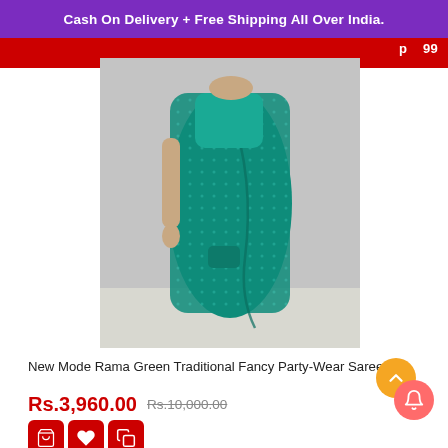Cash On Delivery + Free Shipping All Over India.
[Figure (photo): A woman wearing a teal/rama green sequined traditional saree, standing against a grey concrete wall background.]
New Mode Rama Green Traditional Fancy Party-Wear Saree.
Rs.3,960.00  Rs.10,000.00